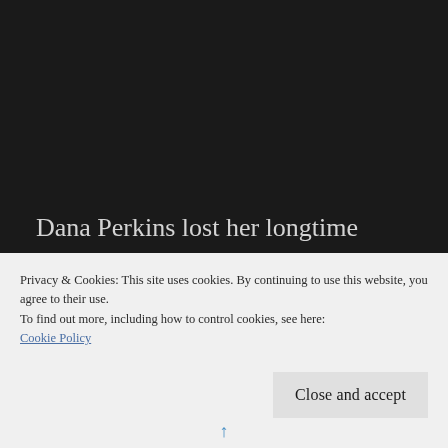Dana Perkins lost her longtime partner in a tragic accident. Although she still struggles with the loss, her profound loneliness is evidence that it is time to move on. She knows her deceased lover, Casey, wouldn't want her living this way. Dana begins her slow process of
Privacy & Cookies: This site uses cookies. By continuing to use this website, you agree to their use.
To find out more, including how to control cookies, see here:
Cookie Policy
Close and accept